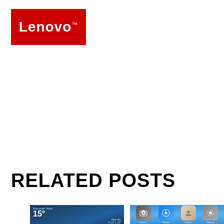[Figure (logo): Lenovo logo — white text on red background square]
RELATED POSTS
[Figure (screenshot): Screenshot of a weather app showing Mountain View, 15°, clear sky, H:13° L:23°]
[Figure (screenshot): Screenshot of an iOS home screen showing Camera, Chrome, Contacts, and Settings app icons on a blue gradient background]